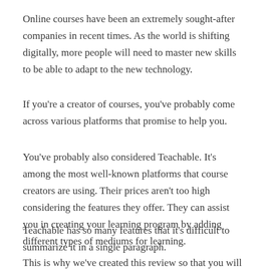Online courses have been an extremely sought-after companies in recent times. As the world is shifting digitally, more people will need to master new skills to be able to adapt to the new technology.
If you're a creator of courses, you've probably come across various platforms that promise to help you.
You've probably also considered Teachable. It's among the most well-known platforms that course creators are using. Their prices aren't too high considering the features they offer. They can assist you in creating your learning program by adding different types of mediums for learning.
Teachable has so many features that it's difficult to summarize it in a single paragraph.
This is why we've created this review so that you will be able